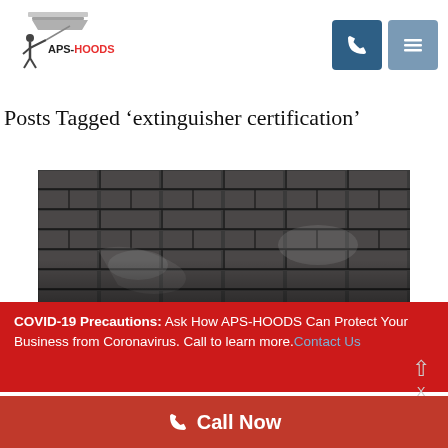[Figure (logo): APS-HOODS logo with a person holding a cleaning wand and the text APS-HOODS]
[Figure (other): Two navy blue navigation buttons: a phone icon button and a hamburger menu icon button]
Posts Tagged ‘extinguisher certification’
[Figure (photo): Black and white photograph of a crumbling or damaged brick wall]
COVID-19 Precautions: Ask How APS-HOODS Can Protect Your Business from Coronavirus. Call to learn more. Contact Us
Call Now